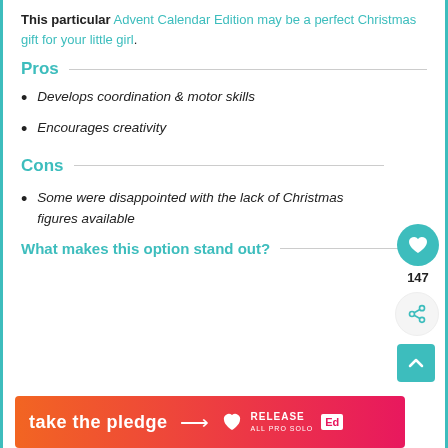This particular Advent Calendar Edition may be a perfect Christmas gift for your little girl.
Pros
Develops coordination & motor skills
Encourages creativity
Cons
Some were disappointed with the lack of Christmas figures available
What makes this option stand out?
[Figure (infographic): Orange to pink gradient banner advertisement reading 'take the pledge' with an arrow, Release logo with heart icon, and Ed logo]